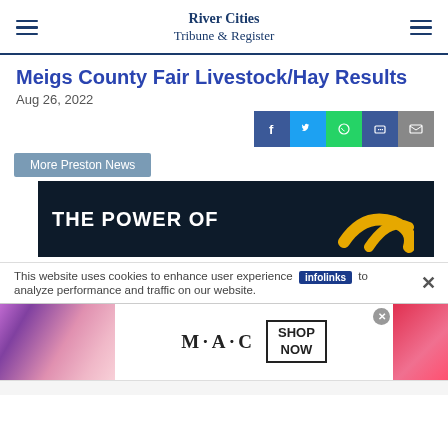River Cities Tribune & Register
Meigs County Fair Livestock/Hay Results
Aug 26, 2022
[Figure (other): Social share buttons: Facebook, Twitter, WhatsApp, Messages, Email]
More Preston News
[Figure (other): Dark advertisement banner with text 'THE POWER OF' and yellow swoosh graphic]
This website uses cookies to enhance user experience to analyze performance and traffic on our website.
[Figure (other): MAC cosmetics advertisement showing lipsticks with SHOP NOW button]
[Figure (other): infolinks ad label]